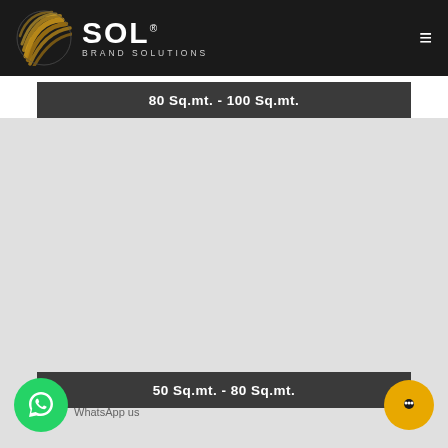SOL Brand Solutions — navigation header
80 Sq.mt. - 100 Sq.mt.
50 Sq.mt. - 80 Sq.mt.